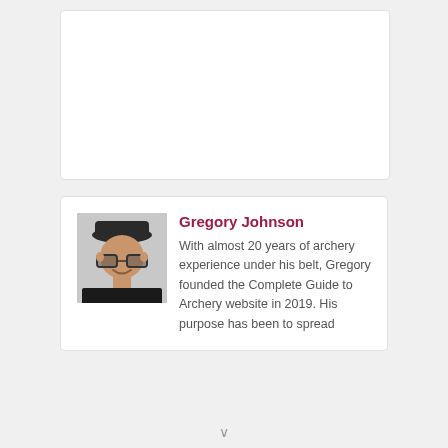[Figure (other): Empty white card area at top of page]
Gregory Johnson
With almost 20 years of archery experience under his belt, Gregory founded the Complete Guide to Archery website in 2019. His purpose has been to spread